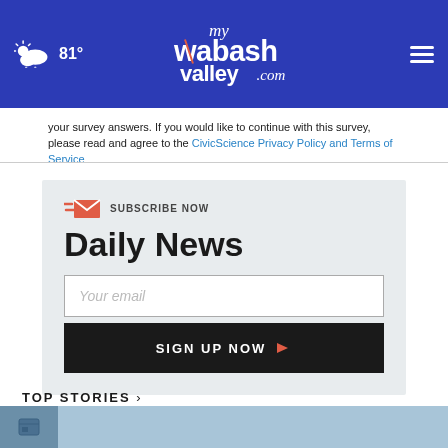myWabashValley.com — 81°
your survey answers. If you would like to continue with this survey, please read and agree to the CivicScience Privacy Policy and Terms of Service
[Figure (infographic): Subscribe Now newsletter signup box with email icon, 'Daily News' heading, email input field, and Sign Up Now button]
TOP STORIES ›
[Figure (photo): Top stories thumbnail image strip at bottom of page]